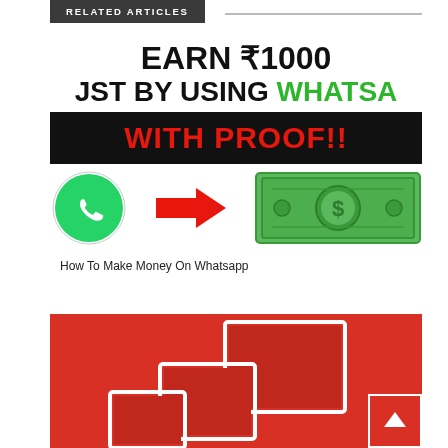RELATED ARTICLES
[Figure (infographic): Promotional infographic: 'EARN ₹1000 JUST BY USING WHATSAPP WITH PROOF!!' with WhatsApp logo, red arrow, and dollar bill graphic. Caption: 'How To Make Money On Whatsapp']
How To Make Money On Whatsapp
[Figure (illustration): Red background image with white-bordered red rectangles arranged in a stacked pattern, resembling a logo or app icon. A red scroll-to-top button with a white up-arrow is in the bottom right corner.]